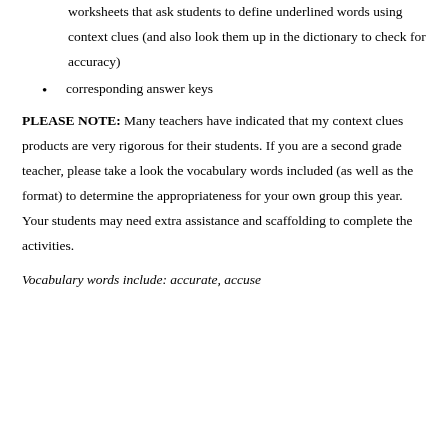worksheets that ask students to define underlined words using context clues (and also look them up in the dictionary to check for accuracy)
corresponding answer keys
PLEASE NOTE: Many teachers have indicated that my context clues products are very rigorous for their students. If you are a second grade teacher, please take a look the vocabulary words included (as well as the format) to determine the appropriateness for your own group this year. Your students may need extra assistance and scaffolding to complete the activities.
Vocabulary words include: accurate, accuse